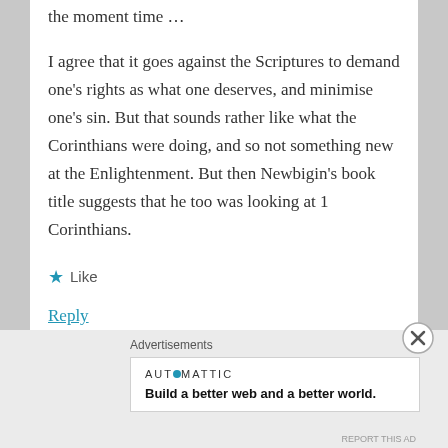the moment time …
I agree that it goes against the Scriptures to demand one's rights as what one deserves, and minimise one's sin. But that sounds rather like what the Corinthians were doing, and so not something new at the Enlightenment. But then Newbigin's book title suggests that he too was looking at 1 Corinthians.
★ Like
Reply
Advertisements
AUTOMATTIC
Build a better web and a better world.